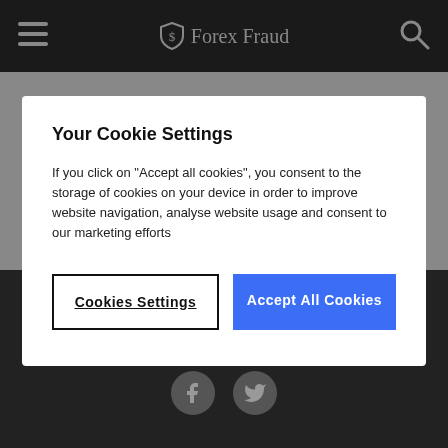Forex Fraud
Your Cookie Settings
If you click on "Accept all cookies", you consent to the storage of cookies on your device in order to improve website navigation, analyse website usage and consent to our marketing efforts
Cookies Settings | Accept All Cookies
[Figure (logo): Forex Fraud logo with shield icon in dark footer]
[Figure (infographic): Facebook and Twitter social media icons in gray circles]